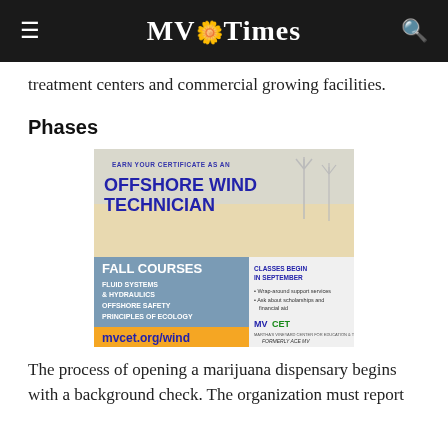MV Times
treatment centers and commercial growing facilities.
Phases
[Figure (advertisement): Advertisement for MVCET Offshore Wind Technician certificate program. Text reads: EARN YOUR CERTIFICATE AS AN OFFSHORE WIND TECHNICIAN. FALL COURSES: FLUID SYSTEMS & HYDRAULICS, OFFSHORE SAFETY, PRINCIPLES OF ECOLOGY. CLASSES BEGIN IN SEPTEMBER. Wrap-around support services. Ask about scholarships and financial aid. MVCET Martha's Vineyard Center for Education & Training, FORMERLY ACE MV. mvcet.org/wind. Bristol Community College logo.]
The process of opening a marijuana dispensary begins with a background check. The organization must report